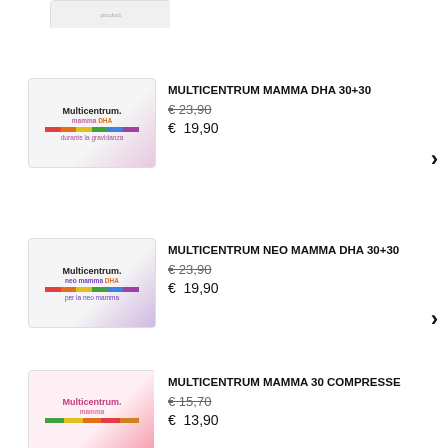[Figure (photo): Multicentrum product top portion partially visible at top of page]
[Figure (photo): Multicentrum Mamma DHA 30+30 product box showing pregnant woman]
MULTICENTRUM MAMMA DHA 30+30
€ 23,90 (strikethrough)
€  19,90
[Figure (photo): Multicentrum Neo Mamma DHA 30+30 product box showing woman with baby]
MULTICENTRUM NEO MAMMA DHA 30+30
€ 23,90 (strikethrough)
€  19,90
[Figure (photo): Multicentrum Mamma 30 Compresse product box partially visible]
MULTICENTRUM MAMMA 30 COMPRESSE
€ 15,70 (strikethrough)
€  13,90